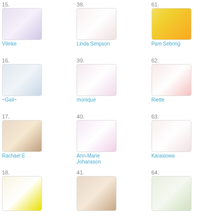[Figure (photo): Entry 15: Vilinke - handmade card thumbnail]
Vilinke
[Figure (photo): Entry 38: Linda Simpson - handmade card thumbnail]
Linda Simpson
[Figure (photo): Entry 61: Pam Sebring - handmade card thumbnail]
Pam Sebring
[Figure (photo): Entry 16: ~Gail~ - handmade card thumbnail]
~Gail~
[Figure (photo): Entry 39: monique - handmade card thumbnail]
monique
[Figure (photo): Entry 62: Riette - handmade card thumbnail]
Riette
[Figure (photo): Entry 17: Rachael E - handmade card thumbnail]
Rachael E
[Figure (photo): Entry 40: Ann-Marie Johansson - handmade card thumbnail]
Ann-Marie Johansson
[Figure (photo): Entry 63: Karasiowa - handmade card thumbnail]
Karasiowa
[Figure (photo): Entry 18 - handmade card thumbnail]
[Figure (photo): Entry 41 - handmade card thumbnail]
[Figure (photo): Entry 64 - handmade card thumbnail]